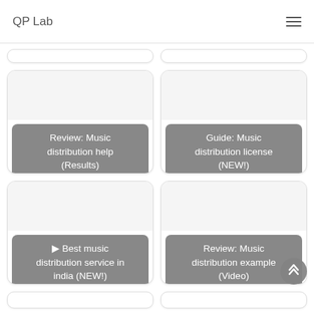QP Lab
[Figure (screenshot): Card with label: Review: Music distribution help (Results)]
[Figure (screenshot): Card with label: Guide: Music distribution license (NEW!)]
[Figure (screenshot): Card with label: ▶ Best music distribution service in india (NEW!)]
[Figure (screenshot): Card with label: Review: Music distribution example (Video)]
[Figure (screenshot): Partially visible bottom row of cards]